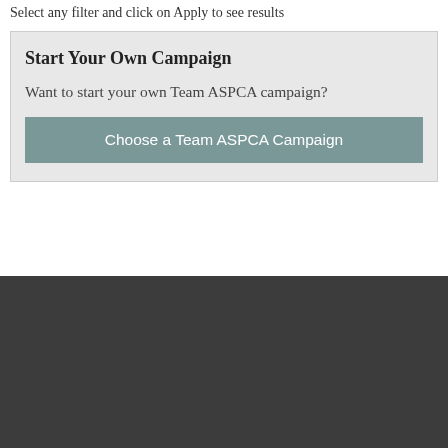Select any filter and click on Apply to see results
Start Your Own Campaign
Want to start your own Team ASPCA campaign?
Choose a Team ASPCA Campaign
[Figure (screenshot): Dark gray footer area at the bottom of a webpage]